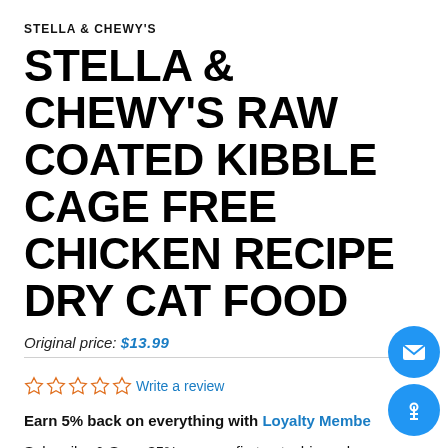STELLA & CHEWY'S
STELLA & CHEWY'S RAW COATED KIBBLE CAGE FREE CHICKEN RECIPE DRY CAT FOOD
Original price: $13.99
☆☆☆☆☆ Write a review
Earn 5% back on everything with Loyalty Membe…
Subscribe & Save 35% on your first autoship and…